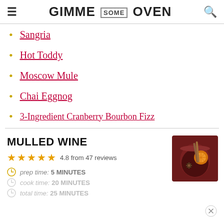GIMME SOME OVEN
Sangria
Hot Toddy
Moscow Mule
Chai Eggnog
3-Ingredient Cranberry Bourbon Fizz
MULLED WINE
4.8 from 47 reviews
prep time: 5 MINUTES
cook time: 20 MINUTES
total time: 25 MINUTES
[Figure (photo): A glass of mulled wine with cinnamon sticks, star anise, and an orange slice]